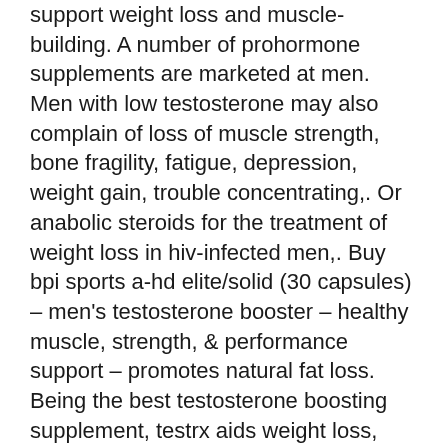support weight loss and muscle-building. A number of prohormone supplements are marketed at men. Men with low testosterone may also complain of loss of muscle strength, bone fragility, fatigue, depression, weight gain, trouble concentrating,. Or anabolic steroids for the treatment of weight loss in hiv-infected men,. Buy bpi sports a-hd elite/solid (30 capsules) – men's testosterone booster – healthy muscle, strength, &amp; performance support – promotes natural fat loss. Being the best testosterone boosting supplement, testrx aids weight loss, improves muscle mass, and overall physical performance. Testosterone is crucial for many body processes, including fat loss and muscle growth. Here are the best testosterone boosting supplements Solche Dauerrektionen können im